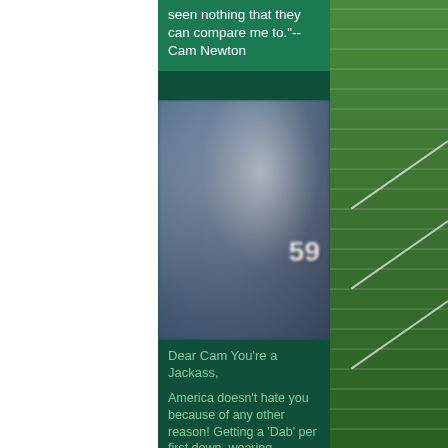seen nothing that they can compare me to."--Cam Newton
[Figure (photo): Blurred photo of football players on field, one wearing jersey number 59]
Dear Cam You're a Jackass,
America doesn't hate you because of any other reason! Getting a 'Dab' per first down, wearing fanciful...